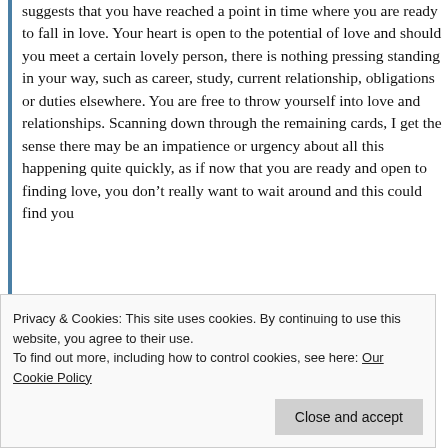suggests that you have reached a point in time where you are ready to fall in love. Your heart is open to the potential of love and should you meet a certain lovely person, there is nothing pressing standing in your way, such as career, study, current relationship, obligations or duties elsewhere. You are free to throw yourself into love and relationships. Scanning down through the remaining cards, I get the sense there may be an impatience or urgency about all this happening quite quickly, as if now that you are ready and open to finding love, you don’t really want to wait around and this could find you
Privacy & Cookies: This site uses cookies. By continuing to use this website, you agree to their use.
To find out more, including how to control cookies, see here: Our Cookie Policy